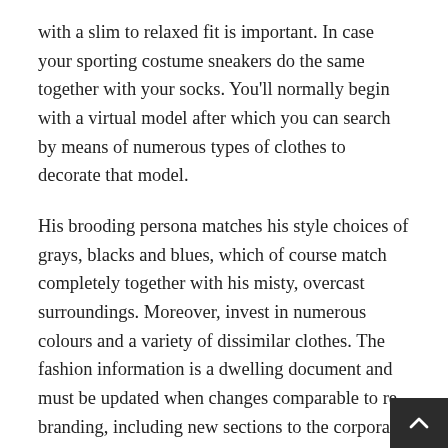with a slim to relaxed fit is important. In case your sporting costume sneakers do the same together with your socks. You'll normally begin with a virtual model after which you can search by means of numerous types of clothes to decorate that model.
His brooding persona matches his style choices of grays, blacks and blues, which of course match completely together with his misty, overcast surroundings. Moreover, invest in numerous colours and a variety of dissimilar clothes. The fashion information is a dwelling document and must be updated when changes comparable to re-branding, including new sections to the corporate web site, utilizing media channels that have by no means been used before, are happening.... Read More..